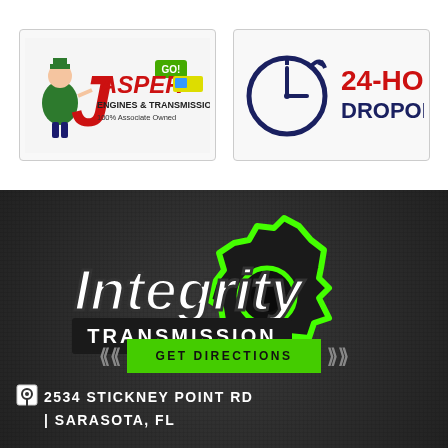[Figure (logo): Jasper Engines & Transmissions logo — 100% Associate Owned, with stylized red J and mechanic mascot]
[Figure (logo): 24-HOUR DROPOFF badge with clock icon, dark blue and red text]
[Figure (logo): Integrity Transmission logo — italic white/black lettering with green gear graphic on dark background]
GET DIRECTIONS
2534 STICKNEY POINT RD
| SARASOTA, FL